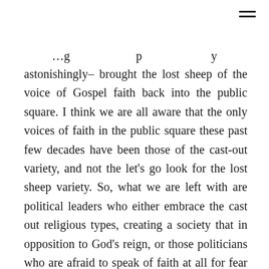astonishingly– brought the lost sheep of the voice of Gospel faith back into the public square. I think we are all aware that the only voices of faith in the public square these past few decades have been those of the cast-out variety, and not the let's go look for the lost sheep variety. So, what we are left with are political leaders who either embrace the cast out religious types, creating a society that in opposition to God's reign, or those politicians who are afraid to speak of faith at all for fear of being perceived as being one of the cast-out variety.  They, like us, have lost the voice of Gospel based faith.  And frankly, considering our current state of affairs, it is imperative that what has become lost needs to be found if we are to have a just and loving society.